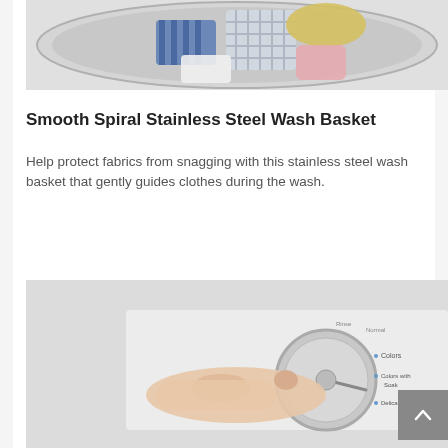[Figure (photo): Top-down view of an open washing machine drum filled with colorful laundry including striped and checkered fabrics]
Smooth Spiral Stainless Steel Wash Basket
Help protect fabrics from snagging with this stainless steel wash basket that gently guides clothes during the wash.
[Figure (photo): A hand turning a metallic selector dial on a white washing machine control panel showing settings including Colors, Colors with Soak, Delicates]